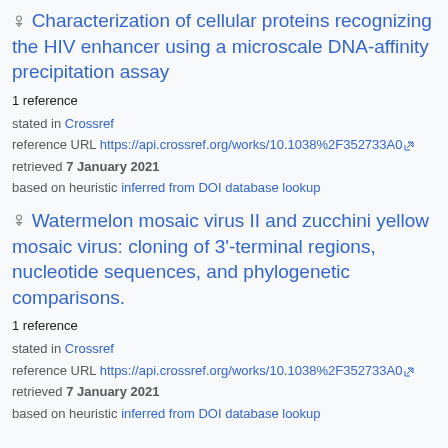Characterization of cellular proteins recognizing the HIV enhancer using a microscale DNA-affinity precipitation assay
1 reference
stated in Crossref
reference URL https://api.crossref.org/works/10.1038%2F352733A0
retrieved 7 January 2021
based on heuristic inferred from DOI database lookup
Watermelon mosaic virus II and zucchini yellow mosaic virus: cloning of 3'-terminal regions, nucleotide sequences, and phylogenetic comparisons.
1 reference
stated in Crossref
reference URL https://api.crossref.org/works/10.1038%2F352733A0
retrieved 7 January 2021
based on heuristic inferred from DOI database lookup